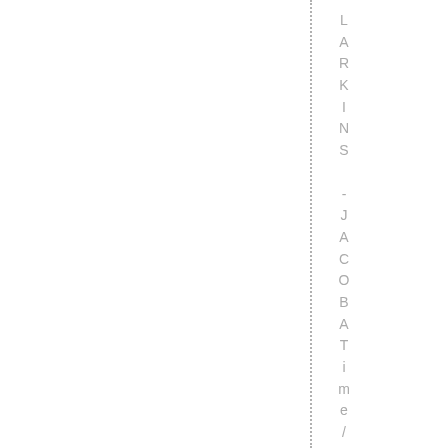LARKINS - JACOBATime/DateOffenseAre